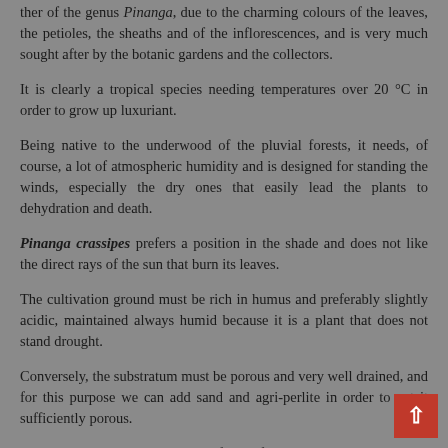...ther of the genus Pinanga, due to the charming colours of the leaves, the petioles, the sheaths and of the inflorescences, and is very much sought after by the botanic gardens and the collectors.
It is clearly a tropical species needing temperatures over 20 °C in order to grow up luxuriant.
Being native to the underwood of the pluvial forests, it needs, of course, a lot of atmospheric humidity and is designed for standing the winds, especially the dry ones that easily lead the plants to dehydration and death.
Pinanga crassipes prefers a position in the shade and does not like the direct rays of the sun that burn its leaves.
The cultivation ground must be rich in humus and preferably slightly acidic, maintained always humid because it is a plant that does not stand drought.
Conversely, the substratum must be porous and very well drained, and for this purpose we can add sand and agri-perlite in order to get it sufficiently porous.
It can be reproduced by division of the tufts, but more easily, by...